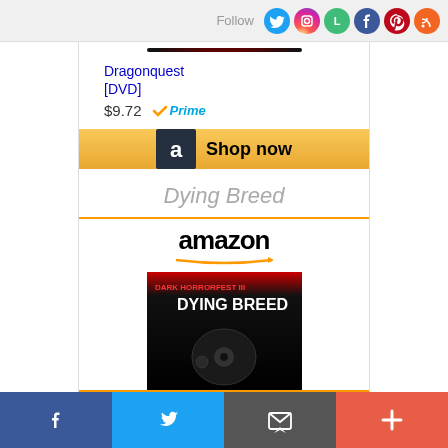Follow [social icons: Twitter, Instagram, Letterboxd, Facebook, Pinterest, RSS]
[Figure (photo): Dragonquest DVD movie cover — fiery fantasy scene with globe]
Dragonquest [DVD]
$9.72  ✓Prime
[Figure (other): Amazon 'Shop now' button with Amazon logo]
Dying Breed
[Figure (other): Amazon widget showing Dying Breed DVD cover with amazon logo and orange smile]
Social share bar: Facebook, Twitter, Email, More